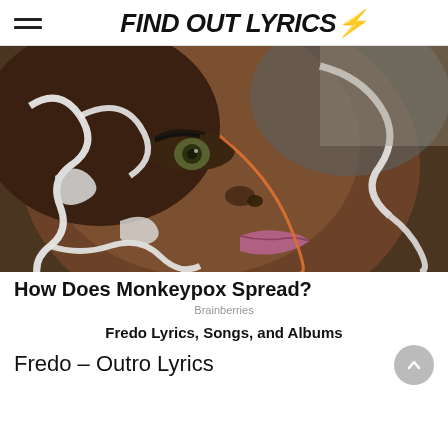FIND OUT LYRICS⚡
[Figure (photo): Close-up photo of a person's face with artistic white painted swirling lines and orange/warm light accents on dark skin, dramatic eye makeup.]
How Does Monkeypox Spread?
Brainberries
Fredo Lyrics, Songs, and Albums
Fredo – Outro Lyrics